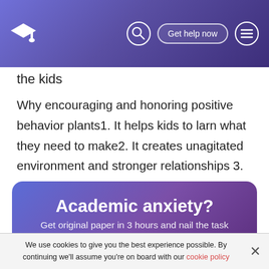Navigation bar with logo, search icon, Get help now button, and menu icon
the kids
Why encouraging and honoring positive behavior plants1. It helps kids to larn what they need to make2. It creates unagitated environment and stronger relationships 3. Children respond well4. Children learn from grownups
[Figure (infographic): Promotional card with gradient background reading 'Academic anxiety? Get original paper in 3 hours and nail the task']
We use cookies to give you the best experience possible. By continuing we'll assume you're on board with our cookie policy